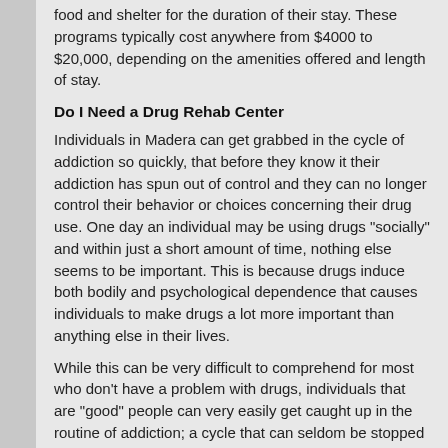food and shelter for the duration of their stay. These programs typically cost anywhere from $4000 to $20,000, depending on the amenities offered and length of stay.
Do I Need a Drug Rehab Center
Individuals in Madera can get grabbed in the cycle of addiction so quickly, that before they know it their addiction has spun out of control and they can no longer control their behavior or choices concerning their drug use. One day an individual may be using drugs "socially" and within just a short amount of time, nothing else seems to be important. This is because drugs induce both bodily and psychological dependence that causes individuals to make drugs a lot more important than anything else in their lives.
While this can be very difficult to comprehend for most who don't have a problem with drugs, individuals that are "good" people can very easily get caught up in the routine of addiction; a cycle that can seldom be stopped without correct treatment at a drug rehab program in Madera. At a drug rehab center, people will be able to first detox safely and control withdrawal symptoms with the aid of specialists and medical staff. More importantly, they will be able to tackle things which induced their drug use including all psychological and emotional issues. Layer by layer these difficulties can be resolved, so that there is no possibility the person will fall prey to drug abuse yet again in the future.
Drug Rehab and Drug Cravings in Madera, Pennsylvania
Drug cravings can cause a person in Madera, Pennsylvania to take drugs even though they truly want to stop. When a person encounters this, Drug Rehab will be necessary for the addicted person to have the